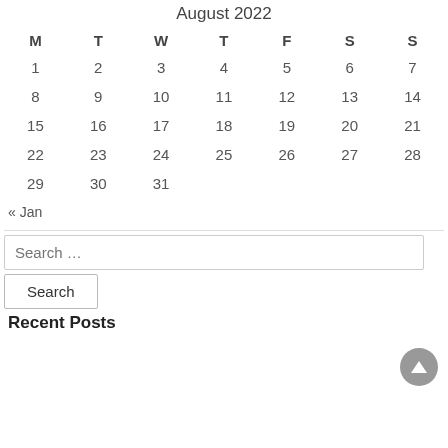August 2022
| M | T | W | T | F | S | S |
| --- | --- | --- | --- | --- | --- | --- |
| 1 | 2 | 3 | 4 | 5 | 6 | 7 |
| 8 | 9 | 10 | 11 | 12 | 13 | 14 |
| 15 | 16 | 17 | 18 | 19 | 20 | 21 |
| 22 | 23 | 24 | 25 | 26 | 27 | 28 |
| 29 | 30 | 31 |  |  |  |  |
« Jan
Search …
Search
Recent Posts